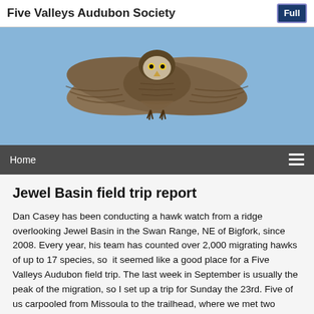Five Valleys Audubon Society
[Figure (photo): A hawk or owl in flight against a blue sky, photographed from below with wings spread wide, showing detailed feather patterns.]
Home
Jewel Basin field trip report
Dan Casey has been conducting a hawk watch from a ridge overlooking Jewel Basin in the Swan Range, NE of Bigfork, since 2008. Every year, his team has counted over 2,000 migrating hawks of up to 17 species, so  it seemed like a good place for a Five Valleys Audubon field trip. The last week in September is usually the peak of the migration, so I set up a trip for Sunday the 23rd. Five of us carpooled from Missoula to the trailhead, where we met two friends of mine from Seattle. Then we all hiked up to the observations site and met up with Dan. The flight was slow getting started, and smoke from the Condon Mountain fire reduced visibility a little, but pretty soon we were seeing birds. Early on we